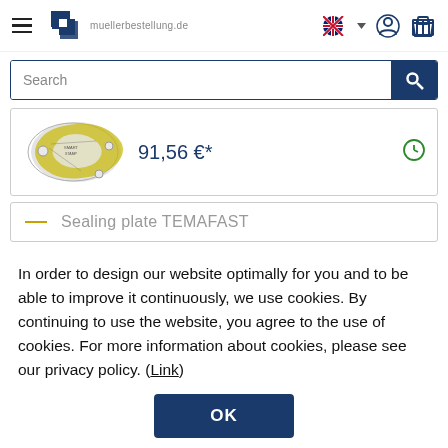muellerbestellung.de
Search
[Figure (photo): Sealing plate / gasket product image, yellowish-green ring-shaped part]
91,56 €*
Sealing plate TEMAFAST
In order to design our website optimally for you and to be able to improve it continuously, we use cookies. By continuing to use the website, you agree to the use of cookies. For more information about cookies, please see our privacy policy. (Link)
OK